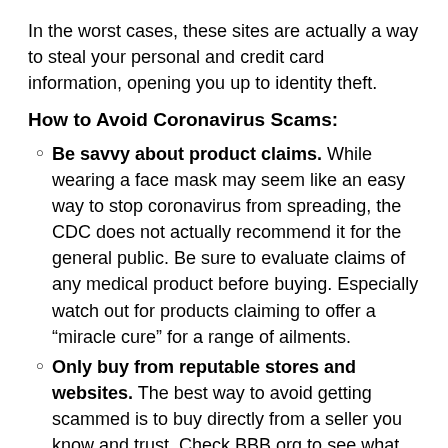In the worst cases, these sites are actually a way to steal your personal and credit card information, opening you up to identity theft.
How to Avoid Coronavirus Scams:
Be savvy about product claims. While wearing a face mask may seem like an easy way to stop coronavirus from spreading, the CDC does not actually recommend it for the general public. Be sure to evaluate claims of any medical product before buying. Especially watch out for products claiming to offer a “miracle cure” for a range of ailments.
Only buy from reputable stores and websites. The best way to avoid getting scammed is to buy directly from a seller you know and trust. Check BBB.org to see what other consumers’ experiences have been.
Be sure the online store has working contact information. If a company seems legitimate but you aren’t familiar with it, be extra careful with your personal information. Before offering up your name, address, and credit card information, make sure the